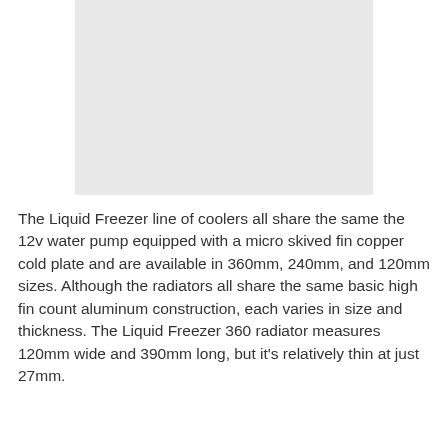[Figure (photo): Product photo placeholder — light grey rectangle representing an image of the Arctic Liquid Freezer cooler]
The Liquid Freezer line of coolers all share the same the 12v water pump equipped with a micro skived fin copper cold plate and are available in 360mm, 240mm, and 120mm sizes. Although the radiators all share the same basic high fin count aluminum construction, each varies in size and thickness. The Liquid Freezer 360 radiator measures 120mm wide and 390mm long, but it's relatively thin at just 27mm.